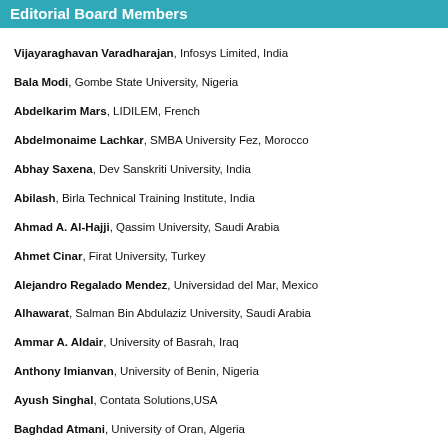Editorial Board Members
Vijayaraghavan Varadharajan, Infosys Limited, India
Bala Modi, Gombe State University, Nigeria
Abdelkarim Mars, LIDILEM, French
Abdelmonaime Lachkar, SMBA University Fez, Morocco
Abhay Saxena, Dev Sanskriti University, India
Abilash, Birla Technical Training Institute, India
Ahmad A. Al-Hajji, Qassim University, Saudi Arabia
Ahmet Cinar, Firat University, Turkey
Alejandro Regalado Mendez, Universidad del Mar, Mexico
Alhawarat, Salman Bin Abdulaziz University, Saudi Arabia
Ammar A. Aldair, University of Basrah, Iraq
Anthony Imianvan, University of Benin, Nigeria
Ayush Singhal, Contata Solutions, USA
Baghdad Atmani, University of Oran, Algeria
Daniel Dacuma Dasig, Jose Rizal University, Philippines
Elmer Rolando Llanos Villarreal, Universidade Federal Rural do Semi-arido, Bra
Ettefagh, University of Tabriz, Iran